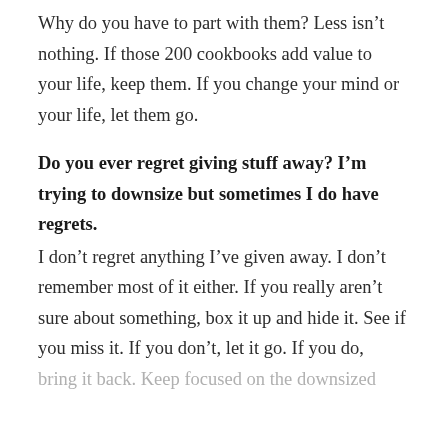Why do you have to part with them? Less isn't nothing. If those 200 cookbooks add value to your life, keep them. If you change your mind or your life, let them go.
Do you ever regret giving stuff away? I'm trying to downsize but sometimes I do have regrets.
I don't regret anything I've given away. I don't remember most of it either. If you really aren't sure about something, box it up and hide it. See if you miss it. If you don't, let it go. If you do, bring it back. Keep focused on the downsized life you're ...